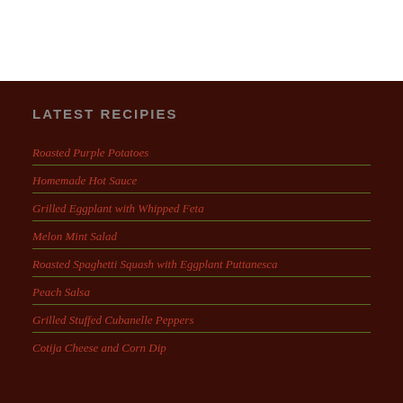LATEST RECIPIES
Roasted Purple Potatoes
Homemade Hot Sauce
Grilled Eggplant with Whipped Feta
Melon Mint Salad
Roasted Spaghetti Squash with Eggplant Puttanesca
Peach Salsa
Grilled Stuffed Cubanelle Peppers
Cotija Cheese and Corn Dip